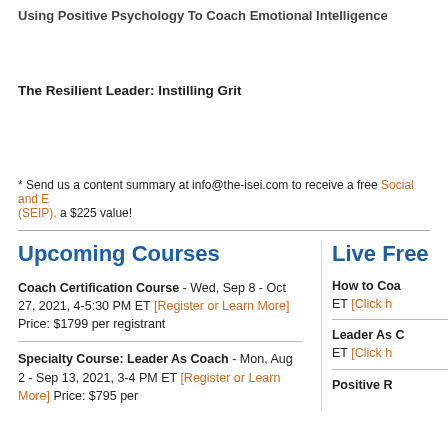Using Positive Psychology To Coach Emotional Intelligence
The Resilient Leader:  Instilling Grit
* Send us a content summary at info@the-isei.com to receive a free Social and E (SEIP), a $225 value!
Upcoming Courses
Live Free
Coach Certification Course - Wed, Sep 8 - Oct 27, 2021, 4-5:30 PM ET [Register or Learn More] Price: $1799 per registrant
How to Coa ET [Click h
Specialty Course: Leader As Coach - Mon, Aug 2 - Sep 13, 2021, 3-4 PM ET [Register or Learn More] Price: $795 per
Leader As C ET [Click h
Positive R